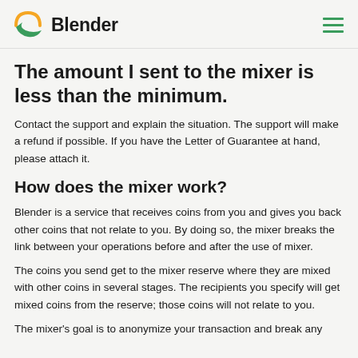Blender
The amount I sent to the mixer is less than the minimum.
Contact the support and explain the situation. The support will make a refund if possible. If you have the Letter of Guarantee at hand, please attach it.
How does the mixer work?
Blender is a service that receives coins from you and gives you back other coins that not relate to you. By doing so, the mixer breaks the link between your operations before and after the use of mixer.
The coins you send get to the mixer reserve where they are mixed with other coins in several stages. The recipients you specify will get mixed coins from the reserve; those coins will not relate to you.
The mixer's goal is to anonymize your transaction and break any